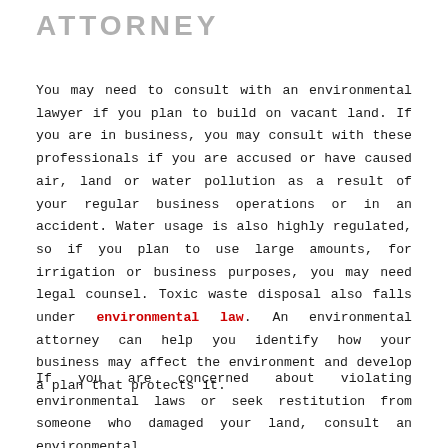ATTORNEY
You may need to consult with an environmental lawyer if you plan to build on vacant land. If you are in business, you may consult with these professionals if you are accused or have caused air, land or water pollution as a result of your regular business operations or in an accident. Water usage is also highly regulated, so if you plan to use large amounts, for irrigation or business purposes, you may need legal counsel. Toxic waste disposal also falls under environmental law. An environmental attorney can help you identify how your business may affect the environment and develop a plan that protects it.
If you are concerned about violating environmental laws or seek restitution from someone who damaged your land, consult an environmental